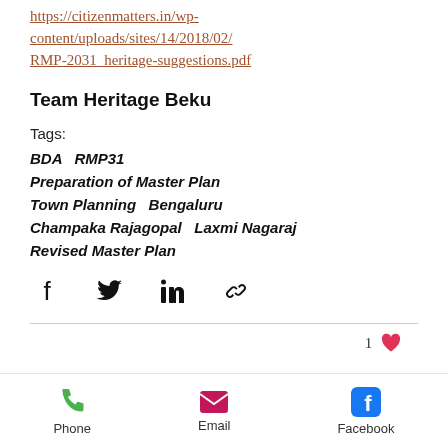https://citizenmatters.in/wp-content/uploads/sites/14/2018/02/RMP-2031_heritage-suggestions.pdf
Team Heritage Beku
Tags:
BDA   RMP31
Preparation of Master Plan
Town Planning   Bengaluru
Champaka Rajagopal   Laxmi Nagaraj
Revised Master Plan
[Figure (infographic): Social share icons: Facebook, Twitter, LinkedIn, Link]
1 ♥
[Figure (infographic): Bottom navigation bar with Phone, Email, Facebook icons]